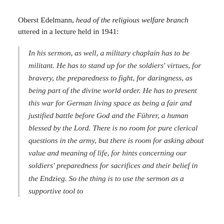Oberst Edelmann, head of the religious welfare branch uttered in a lecture held in 1941:
In his sermon, as well, a military chaplain has to be militant. He has to stand up for the soldiers' virtues, for bravery, the preparedness to fight, for daringness, as being part of the divine world order. He has to present this war for German living space as being a fair and justified battle before God and the Führer, a human blessed by the Lord. There is no room for pure clerical questions in the army, but there is room for asking about value and meaning of life, for hints concerning our soldiers' preparedness for sacrifices and their belief in the Endzieg. So the thing is to use the sermon as a supportive tool to